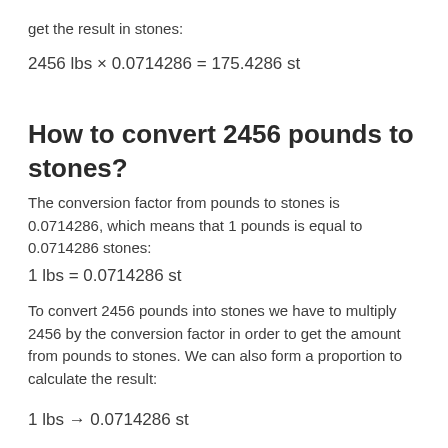get the result in stones:
How to convert 2456 pounds to stones?
The conversion factor from pounds to stones is 0.0714286, which means that 1 pounds is equal to 0.0714286 stones:
To convert 2456 pounds into stones we have to multiply 2456 by the conversion factor in order to get the amount from pounds to stones. We can also form a proportion to calculate the result: